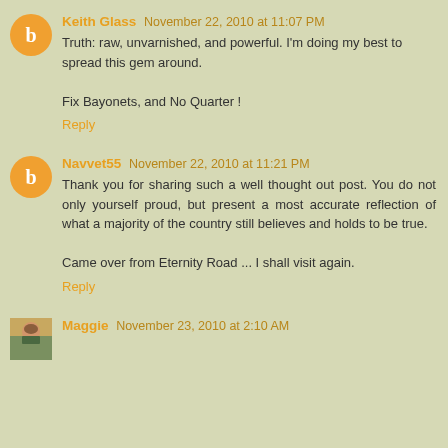Keith Glass November 22, 2010 at 11:07 PM
Truth: raw, unvarnished, and powerful. I'm doing my best to spread this gem around.

Fix Bayonets, and No Quarter !
Reply
Navvet55 November 22, 2010 at 11:21 PM
Thank you for sharing such a well thought out post. You do not only yourself proud, but present a most accurate reflection of what a majority of the country still believes and holds to be true.

Came over from Eternity Road ... I shall visit again.
Reply
Maggie November 23, 2010 at 2:10 AM